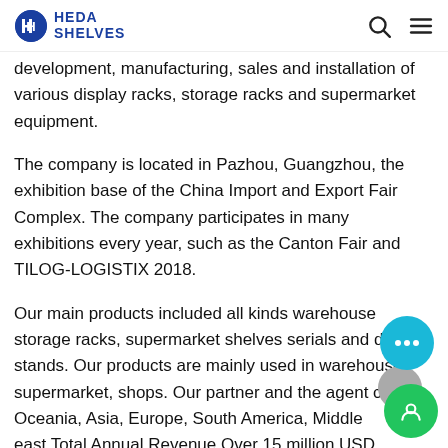HEDA SHELVES
development, manufacturing, sales and installation of various display racks, storage racks and supermarket equipment. The company is located in Pazhou, Guangzhou, the exhibition base of the China Import and Export Fair Complex. The company participates in many exhibitions every year, such as the Canton Fair and TILOG-LOGISTIX 2018. Our main products included all kinds warehouse storage racks, supermarket shelves serials and display stands. Our products are mainly used in warehouse, supermarket, shops. Our partner and the agent cover Oceania, Asia, Europe, South America, Middle east.Total Annual Revenue Over 15 million USD.